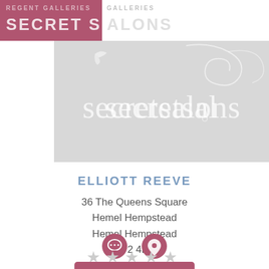REGENT GALLERIES SECRET SALONS
[Figure (logo): Secret Salons logo on light grey background with decorative floral/bird motifs]
Elliott Reeve
36 The Queens Square
Hemel Hempstead
Hemel Hempstead
HP2 4ER
[Figure (infographic): Two circular icons: speech bubble icon and location pin icon, both in mauve/rose color]
[Figure (infographic): Five empty star rating icons in light grey]